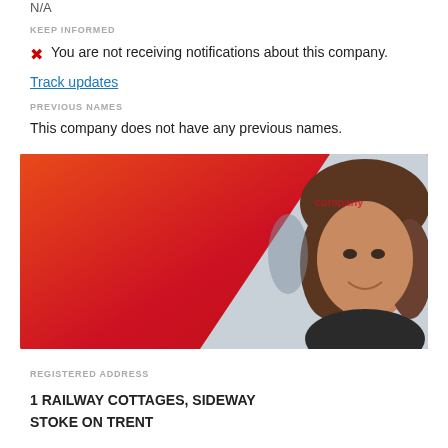N/A
KEEP INFORMED
You are not receiving notifications about this company.
Track updates
PREVIOUS NAMES
This company does not have any previous names.
[Figure (photo): Promotional banner image with red/orange gradient on the left and a smiling woman with brown hair on the right, with a partial company logo visible in the background]
REGISTERED ADDRESS
1 RAILWAY COTTAGES, SIDEWAY
STOKE ON TRENT